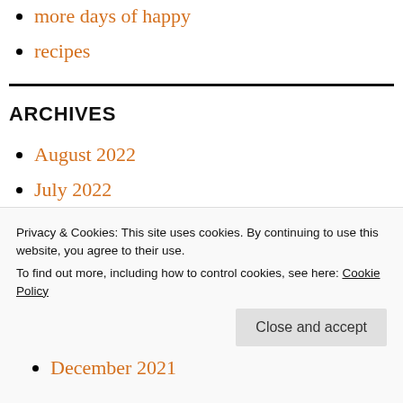more days of happy
recipes
ARCHIVES
August 2022
July 2022
June 2022
Privacy & Cookies: This site uses cookies. By continuing to use this website, you agree to their use.
To find out more, including how to control cookies, see here: Cookie Policy
December 2021